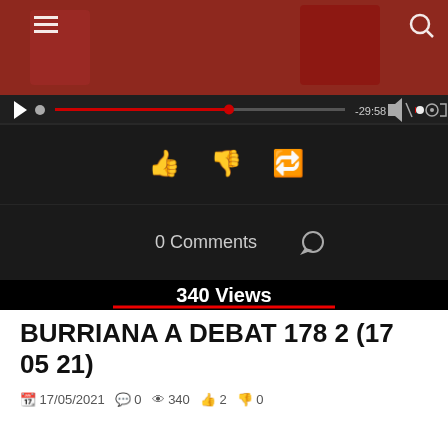[Figure (screenshot): YouTube video player screenshot showing a video paused at -29:58, with playback controls, progress bar, like/dislike/share buttons, 0 Comments, 340 Views, 2 likes and 0 dislikes.]
BURRIANA A DEBAT 178 2 (17 05 21)
17/05/2021  0  340  2  0